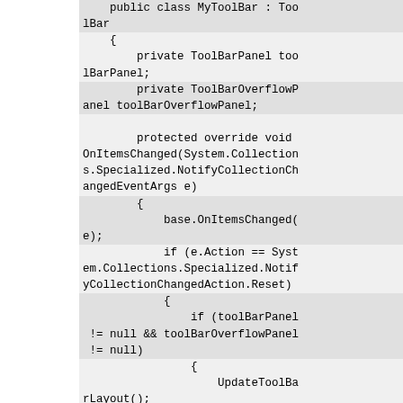[Figure (screenshot): Code snippet showing C# class MyToolBar extending ToolBar with private fields toolBarPanel and toolBarOverflowPanel, and overridden methods OnItemsChanged and OnApplyTemplate. Syntax highlighting shows red and blue for certain identifiers.]